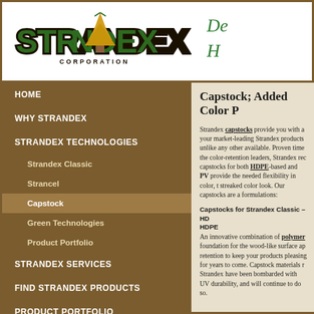[Figure (logo): Strandex Corporation logo with yellow pine tree and green/black lettering]
De H
HOME
WHY STRANDEX
STRANDEX TECHNOLOGIES
Strandex Classic
Strancel
Capstock
Green Technologies
Product Portfolio
STRANDEX SERVICES
FIND STRANDEX PRODUCTS
PRODUCT PORTFOLIO
CONTACT US
Capstock; Added Color P
Strandex capstocks provide you with a your market-leading Strandex products unlike any other available. Proven time the color-retention leaders, Strandex rec capstocks for both HDPE-based and PV provide the needed flexibility in color, t streaked color look. Our capstocks are a formulations:
Capstocks for Strandex Classic – HD HDPE
An innovative combination of polymers foundation for the wood-like surface ap retention to keep your products pleasing for years to come. Capstock materials r Strandex have been bombarded with UV durability, and will continue to do so.